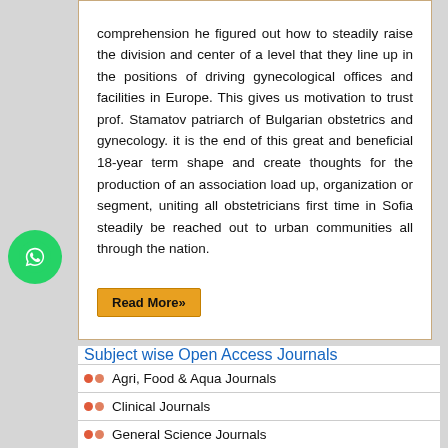comprehension he figured out how to steadily raise the division and center of a level that they line up in the positions of driving gynecological offices and facilities in Europe. This gives us motivation to trust prof. Stamatov patriarch of Bulgarian obstetrics and gynecology. it is the end of this great and beneficial 18-year term shape and create thoughts for the production of an association load up, organization or segment, uniting all obstetricians first time in Sofia steadily be reached out to urban communities all through the nation.
Read More»
[Figure (logo): WhatsApp icon button (green circle with white phone/chat icon)]
Subject wise Open Access Journals
Agri, Food & Aqua Journals
Clinical Journals
General Science Journals
Chemistry Journals
Engineering Journals
Health Care Journals